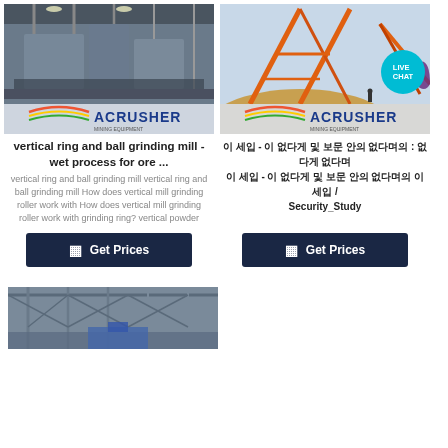[Figure (photo): Industrial machinery interior with metal structure, ACRUSHER mining equipment logo overlay]
[Figure (photo): Outdoor mining conveyor structure with orange framework, ACRUSHER logo, LIVE CHAT badge overlay]
vertical ring and ball grinding mill - wet process for ore ...
안 세입 - 이 없다게 및 보문 안의 없다며의 : 없다게 없다며 이 세입 - 이 없다게 및 보문 안의 없다며의 이 세입 / Security_Study
vertical ring and ball grinding mill vertical ring and ball grinding mill How does vertical mill grinding roller work with How does vertical mill grinding roller work with grinding ring? vertical powder
[Figure (other): Get Prices button with calculator icon, dark navy background]
[Figure (other): Get Prices button with calculator icon, dark navy background]
[Figure (photo): Industrial building interior with steel truss roof structure]